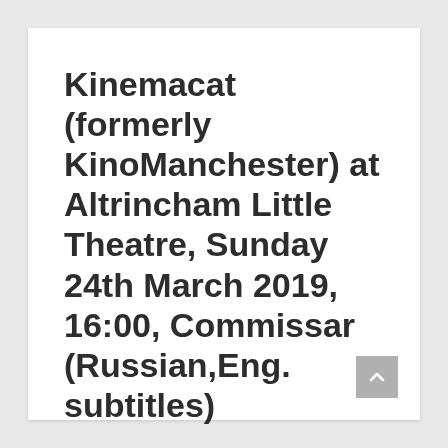Kinemacat (formerly KinoManchester) at Altrincham Little Theatre, Sunday 24th March 2019, 16:00, Commissar (Russian,Eng. subtitles)